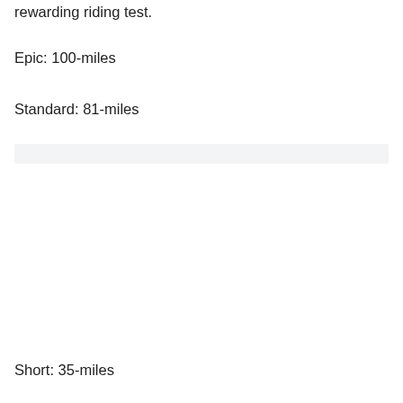rewarding riding test.
Epic: 100-miles
Standard: 81-miles
Short: 35-miles